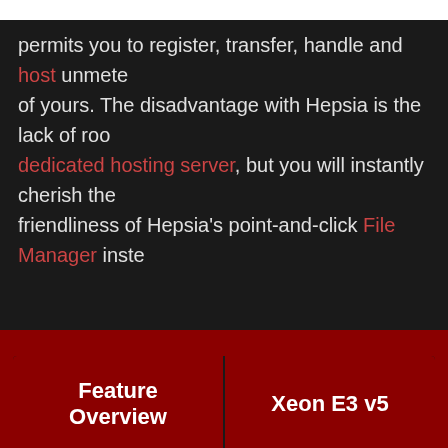permits you to register, transfer, handle and host unmeter of yours. The disadvantage with Hepsia is the lack of roo dedicated hosting server, but you will instantly cherish the friendliness of Hepsia's point-and-click File Manager inste
| Feature Overview | Xeon E3 v5 |
| --- | --- |
| Web Server Storage | 2X 240 GB |
| Web Bandwidth | 10 TB |
| Server Processor (CPU) | XEON E3-1240L V5 2. GHZ (4 CORES) |
| Dedicated Memory (RAM) | 16 GB |